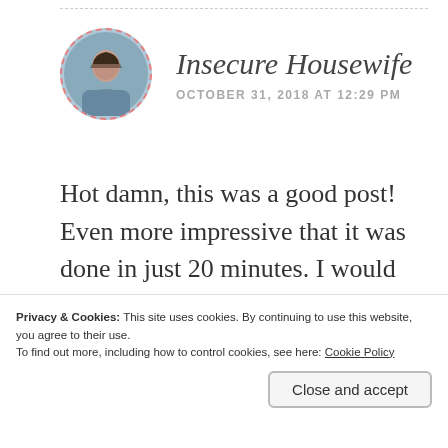Insecure Housewife
OCTOBER 31, 2018 AT 12:29 PM
Hot damn, this was a good post! Even more impressive that it was done in just 20 minutes. I would love to try this challenge but would likely end up
Privacy & Cookies: This site uses cookies. By continuing to use this website, you agree to their use.
To find out more, including how to control cookies, see here: Cookie Policy
Close and accept